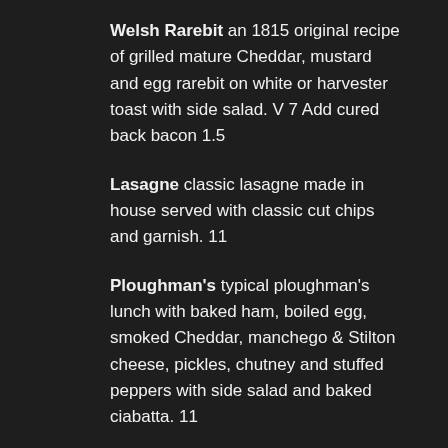Welsh Rarebit an 1815 original recipe of grilled mature Cheddar, mustard and egg rarebit on white or harvester toast with side salad. V 7 Add cured back bacon 1.5
Lasagne classic lasagne made in house served with classic cut chips and garnish. 11
Ploughman's typical ploughman's lunch with baked ham, boiled egg, smoked Cheddar, manchego & Stilton cheese, pickles, chutney and stuffed peppers with side salad and baked ciabatta. 11
Quiche a slice of our popular home-